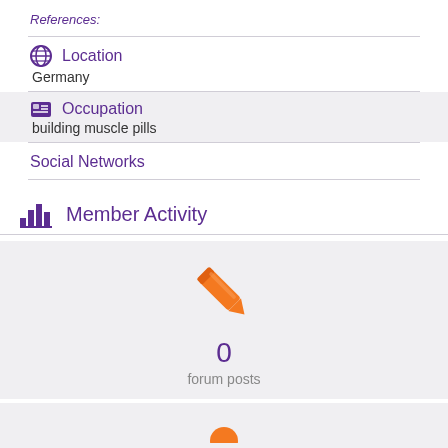References:
Location
Germany
Occupation
building muscle pills
Social Networks
Member Activity
[Figure (illustration): Orange pencil icon above a count of 0 forum posts]
0
forum posts